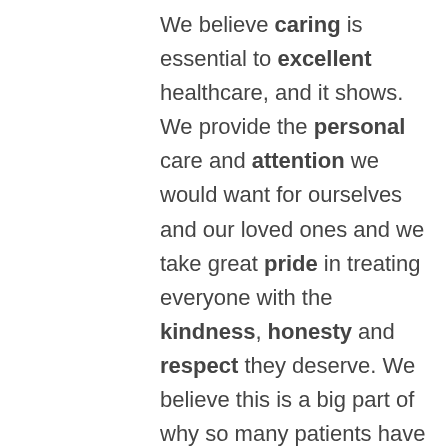We believe caring is essential to excellent healthcare, and it shows. We provide the personal care and attention we would want for ourselves and our loved ones and we take great pride in treating everyone with the kindness, honesty and respect they deserve. We believe this is a big part of why so many patients have placed their trust in us and have referred their family and friends for the past three decades.
Gastroenterology Consultants offers colonoscopy screening for colorectal cancer, EGD and capsule endoscopy